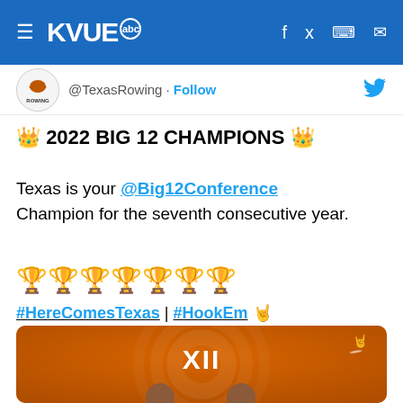KVUE abc — navigation bar with hamburger menu, logo, and social icons
[Figure (screenshot): Texas Rowing Twitter profile avatar — circular logo with longhorn on white background and 'ROWING' text]
@TexasRowing · Follow
👑 2022 BIG 12 CHAMPIONS 👑
Texas is your @Big12Conference Champion for the seventh consecutive year.
🏆🏆🏆🏆🏆🏆🏆
#HereComesTexas | #HookEm 🤘
[Figure (photo): Orange background photo with Big 12 XII logo and Texas Longhorns branding, showing team members at the bottom]